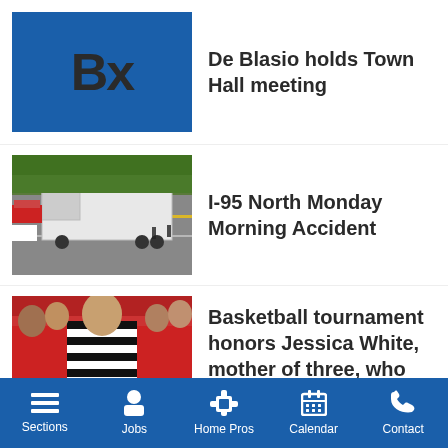[Figure (screenshot): Blue square with 'Bx' text logo placeholder image]
De Blasio holds Town Hall meeting
[Figure (photo): Aerial view of I-95 highway with a large white semi-truck blocking multiple lanes, emergency vehicles present]
I-95 North Monday Morning Accident
[Figure (photo): Basketball game with referee in black and white striped shirt, players in red uniforms in background]
Basketball tournament honors Jessica White, mother of three, who lost
Sections  Jobs  Home Pros  Calendar  Contact